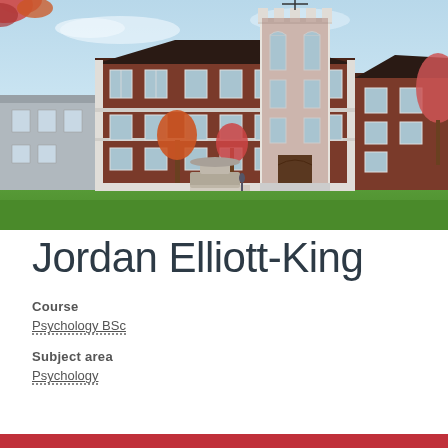[Figure (photo): Exterior photograph of a red-brick Gothic/Edwardian university building with a central tower, white stone dressings, multiple windows, autumnal trees in foreground, fountain, green lawn, blue sky.]
Jordan Elliott-King
Course
Psychology BSc
Subject area
Psychology